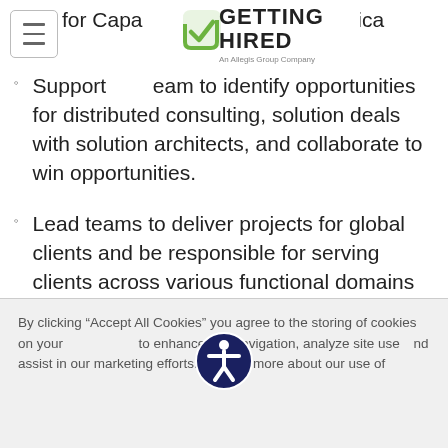[Figure (logo): Getting Hired logo - An Allegis Group Company, with green checkmark]
for Capa k in North America
Support team to identify opportunities for distributed consulting, solution deals with solution architects, and collaborate to win opportunities.
Lead teams to deliver projects for global clients and be responsible for serving clients across various functional domains
Present solutions to customers, especially in an unstructured and ever-changing client environment.
By clicking “Accept All Cookies” you agree to the storing of cookies on your device to enhance site navigation, analyze site usage, and assist in our marketing efforts. To learn more about our use of